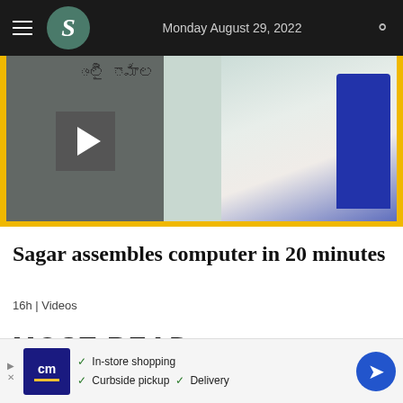Monday August 29, 2022
[Figure (screenshot): Video thumbnail showing a computer assembly scene with a play button overlay and 'Stories' text. Yellow border framing.]
Sagar assembles computer in 20 minutes
16h | Videos
MOST READ
[Figure (illustration): Rank number 1 icon with a circular arrow/refresh symbol below it, partially visible]
[Figure (illustration): Advertisement banner for CM (Canadian store?): 'In-store shopping', 'Curbside pickup', 'Delivery' with blue logo and directional arrow icon]